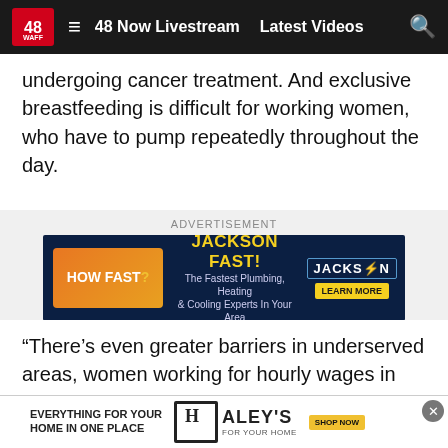48 WAFF  ≡  48 Now Livestream  Latest Videos  🔍
undergoing cancer treatment. And exclusive breastfeeding is difficult for working women, who have to pump repeatedly throughout the day.
[Figure (infographic): Advertisement banner for Jackson Fast - The Fastest Plumbing, Heating & Cooling Experts In Your Area. Dark blue background with orange 'HOW FAST?' badge and Jackson logo. LEARN MORE button.]
“There’s even greater barriers in underserved areas, women working for hourly wages in low-paying jobs. Those women tend to have even fewer supports to be able to continue to breastfeed.”
Stress ... produc...
[Figure (infographic): Bottom advertisement banner for Haley's - Everything For Your Home In One Place. White background with Haley's logo.]